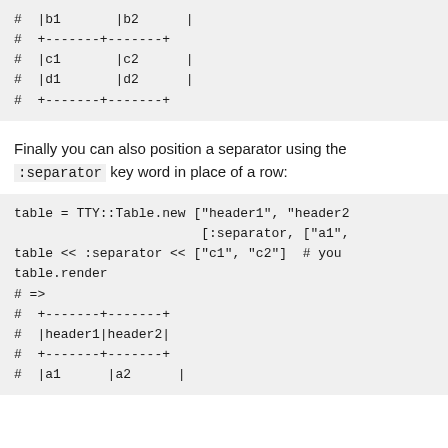#  |b1       |b2      |
#  +-------+-------+
#  |c1       |c2      |
#  |d1       |d2      |
#  +-------+-------+
Finally you can also position a separator using the :separator key word in place of a row:
table = TTY::Table.new ["header1", "header2"
                        [:separator, ["a1",
table << :separator << ["c1", "c2"]  # you
table.render
# =>
#  +-------+-------+
#  |header1|header2|
#  +-------+-------+
#  |a1      |a2      |